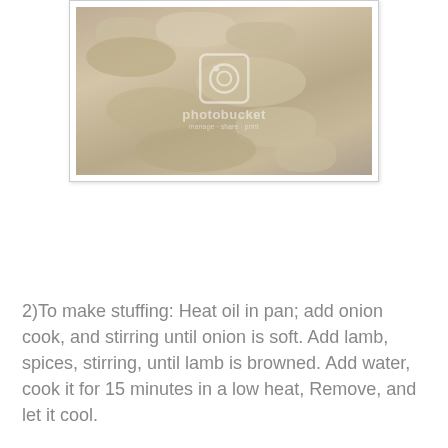[Figure (photo): Close-up photo of cooked crumbled lamb meat mixture, light brown/grey color, with photobucket watermark overlay]
2)To make stuffing: Heat oil in pan; add onion cook, and stirring until onion is soft. Add lamb, spices, stirring, until lamb is browned. Add water, cook it for 15 minutes in a low heat, Remove, and let it cool.